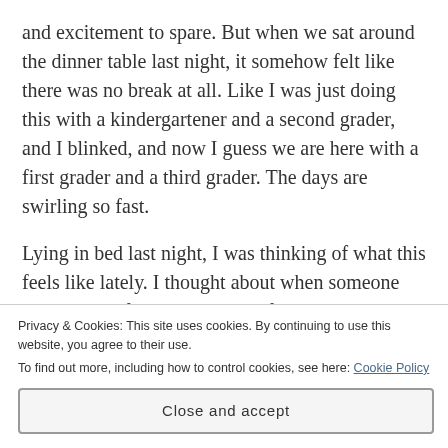and excitement to spare. But when we sat around the dinner table last night, it somehow felt like there was no break at all. Like I was just doing this with a kindergartener and a second grader, and I blinked, and now I guess we are here with a first grader and a third grader. The days are swirling so fast.
Lying in bed last night, I was thinking of what this feels like lately. I thought about when someone has a stack of papers or a handful or receipts or something, and then the wind blows and it takes the pieces flying in all directions across a parking lot or
Privacy & Cookies: This site uses cookies. By continuing to use this website, you agree to their use.
To find out more, including how to control cookies, see here: Cookie Policy
Close and accept